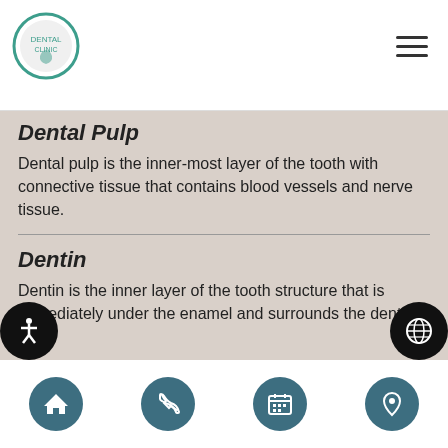[Figure (logo): Circular dental clinic logo with teal border]
Dental Pulp
Dental pulp is the inner-most layer of the tooth with connective tissue that contains blood vessels and nerve tissue.
Dentin
Dentin is the inner layer of the tooth structure that is immediately under the enamel and surrounds the dental pulp.
Direct Pulp Cap
A direct pulp cap is a procedure in which a